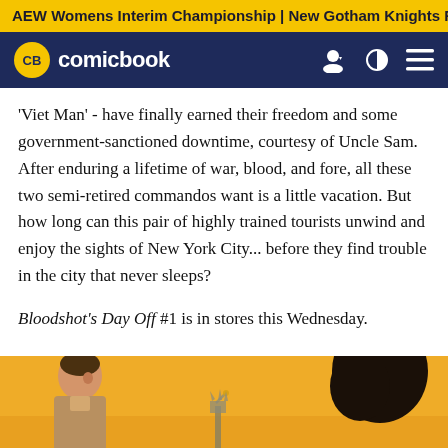AEW Womens Interim Championship | New Gotham Knights R
CB comicbook
'Viet Man' - have finally earned their freedom and some government-sanctioned downtime, courtesy of Uncle Sam. After enduring a lifetime of war, blood, and fore, all these two semi-retired commandos want is a little vacation. But how long can this pair of highly trained tourists unwind and enjoy the sights of New York City... before they find trouble in the city that never sleeps?
Bloodshot's Day Off #1 is in stores this Wednesday.
[Figure (illustration): Comic book art showing characters against an orange background with the Statue of Liberty visible]